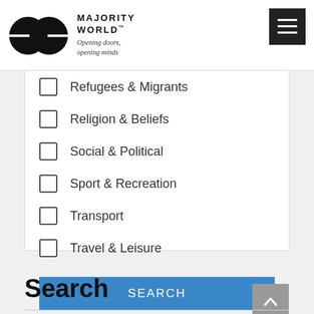[Figure (logo): Majority World logo with two overlapping circles and brand name 'MAJORITY WORLD' with tagline 'Opening doors, opening minds']
Refugees & Migrants
Religion & Beliefs
Social & Political
Sport & Recreation
Transport
Travel & Leisure
SEARCH
Search